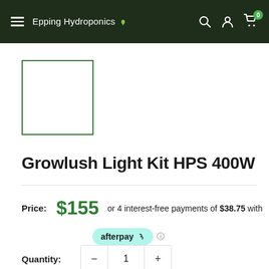Epping Hydroponics — navigation bar with hamburger menu, search, account, and cart icons
[Figure (other): Product image placeholder — empty white box with green border]
Growlush Light Kit HPS 400W
Price: $155 or 4 interest-free payments of $38.75 with afterpay
Quantity: 1